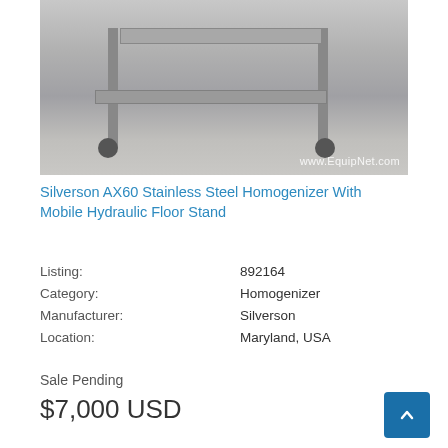[Figure (photo): Photo of a Silverson AX60 Stainless Steel Homogenizer with Mobile Hydraulic Floor Stand. The equipment shows a stainless steel two-shelf cart on wheels. Watermark reads www.EquipNet.com]
Silverson AX60 Stainless Steel Homogenizer With Mobile Hydraulic Floor Stand
| Listing: | 892164 |
| Category: | Homogenizer |
| Manufacturer: | Silverson |
| Location: | Maryland, USA |
Sale Pending
$7,000 USD